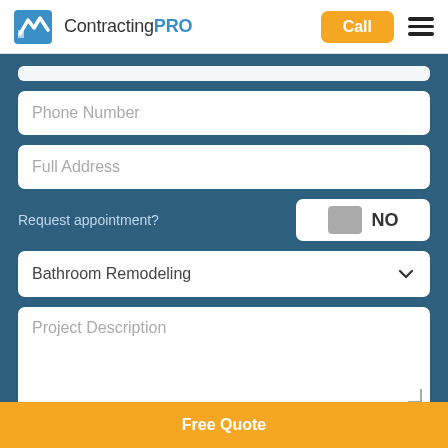[Figure (logo): ContractingPRO logo with blue icon and text]
Call
Phone Number
Full Address
Request appointment?
NO
Bathroom Remodeling
Project Description
Get Free Quote
Free Quote